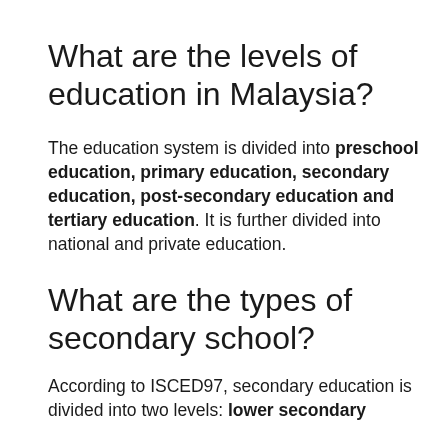What are the levels of education in Malaysia?
The education system is divided into preschool education, primary education, secondary education, post-secondary education and tertiary education. It is further divided into national and private education.
What are the types of secondary school?
According to ISCED97, secondary education is divided into two levels: lower secondary